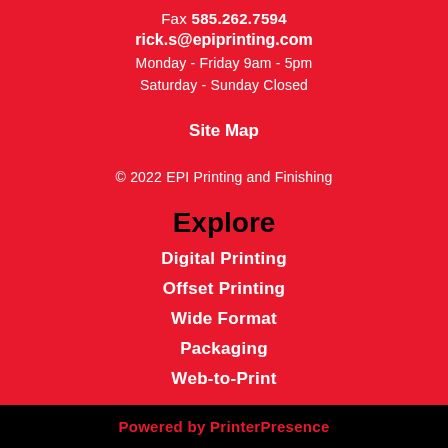Fax 585.262.7594
rick.s@epiprinting.com
Monday - Friday 9am - 5pm
Saturday - Sunday Closed
Site Map
© 2022 EPI Printing and Finishing
Explore
Digital Printing
Offset Printing
Wide Format
Packaging
Web-to-Print
Powered by PrinterPresence